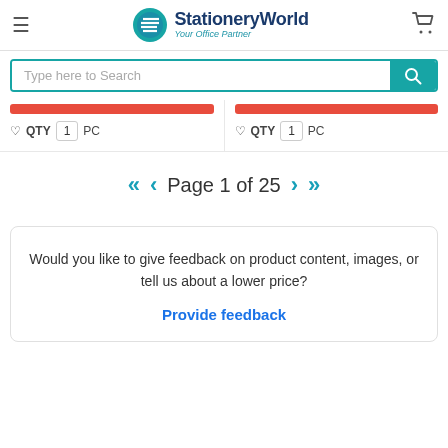StationeryWorld — Your Office Partner
Type here to Search
QTY 1 PC (left product)
QTY 1 PC (right product)
Page 1 of 25
Would you like to give feedback on product content, images, or tell us about a lower price?
Provide feedback